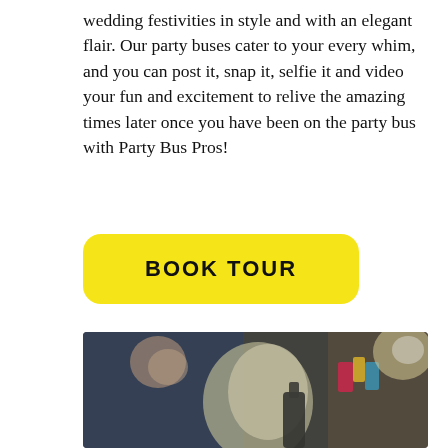wedding festivities in style and with an elegant flair. Our party buses cater to your every whim, and you can post it, snap it, selfie it and video your fun and excitement to relive the amazing times later once you have been on the party bus with Party Bus Pros!
BOOK TOUR
[Figure (photo): Blurred photo of people at a party, with balloons and a champagne/beer bottle in the foreground, colorful outfits visible]